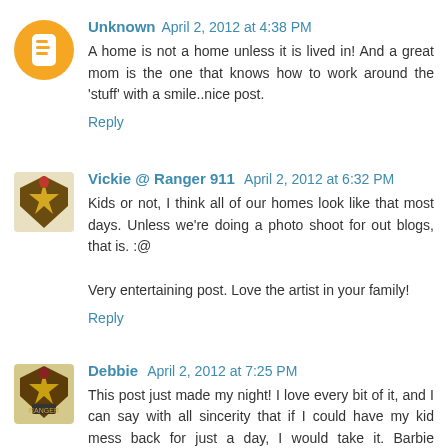Unknown  April 2, 2012 at 4:38 PM
A home is not a home unless it is lived in! And a great mom is the one that knows how to work around the 'stuff' with a smile..nice post.
Reply
Vickie @ Ranger 911  April 2, 2012 at 6:32 PM
Kids or not, I think all of our homes look like that most days. Unless we're doing a photo shoot for out blogs, that is. :@

Very entertaining post. Love the artist in your family!
Reply
Debbie  April 2, 2012 at 7:25 PM
This post just made my night! I love every bit of it, and I can say with all sincerity that if I could have my kid mess back for just a day, I would take it. Barbie invasion and all.